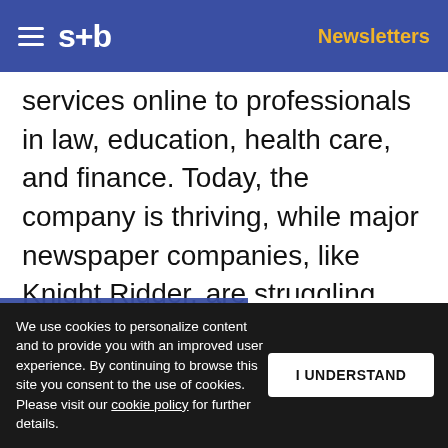s+b  Newsletters
services online to professionals in law, education, health care, and finance. Today, the company is thriving, while major newspaper companies, like Knight Ridder, are struggling.
This is the art of business acumen: linking an insightful assessment of the external business landscape with the keen awareness of how money can be made — and then executing the
We use cookies to personalize content and to provide you with an improved user experience. By continuing to browse this site you consent to the use of cookies. Please visit our cookie policy for further details.